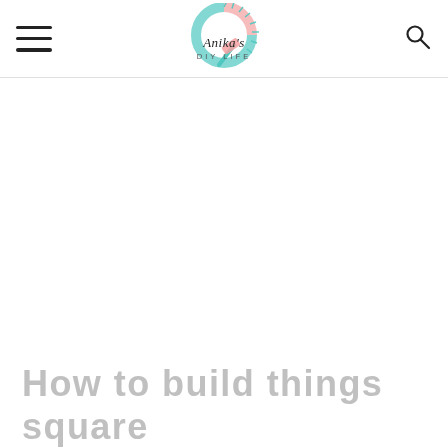Anika's DIY Life
[Figure (logo): Anika's DIY Life logo — script text with circular saw blade and teal/pink watercolor accents, hammer icon]
How to build things square